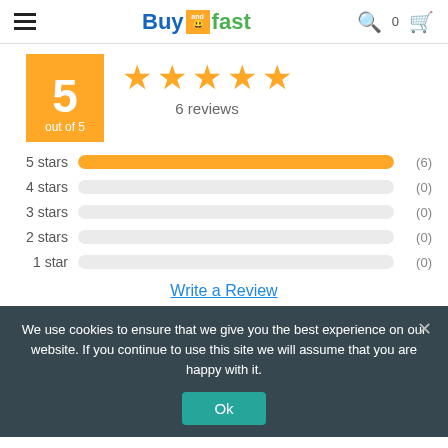Buy and fast — header with hamburger menu, search, and cart
[Figure (other): Rating score box showing 5 out of 5 with 5 orange stars and 6 reviews]
[Figure (bar-chart): Star rating distribution]
Write a Review
We use cookies to ensure that we give you the best experience on our website. If you continue to use this site we will assume that you are happy with it.